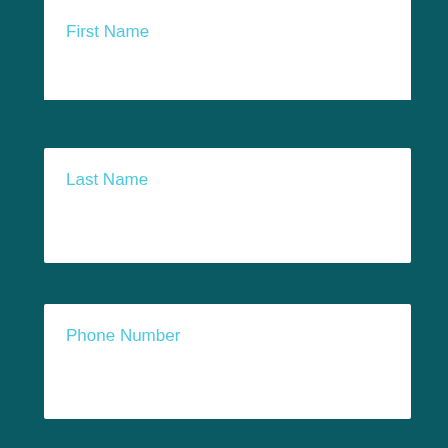First Name
Last Name
Phone Number
Email Address
Submit